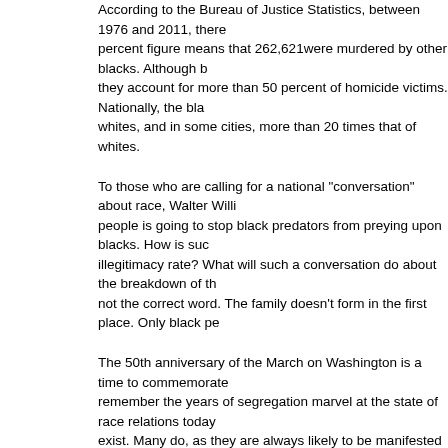According to the Bureau of Justice Statistics, between 1976 and 2011, there were [text cut off] percent figure means that 262,621were murdered by other blacks. Although b[cut off] they account for more than 50 percent of homicide victims. Nationally, the bla[cut off] whites, and in some cities, more than 20 times that of whites.
To those who are calling for a national "conversation" about race, Walter Willi[cut off] people is going to stop black predators from preying upon blacks. How is suc[cut off] illegitimacy rate? What will such a conversation do about the breakdown of th[cut off] not the correct word. The family doesn't form in the first place. Only black pe[cut off]
The 50th anniversary of the March on Washington is a time to commemorate[cut off] remember the years of segregation marvel at the state of race relations today[cut off] exist. Many do, as they are always likely to be manifested in a society compo[cut off] gaps that are attributed to "racism" are really far more complex. It is time to c[cut off] forward with a real understanding of the nature of the problems that persist.
The Conservative Curmudgeon archives
The Conservative Curmudgeon is copyright © 2013 by Allan C. Brownfeld a[cut off] reserved. Editors may use this column if this copyright information is included[cut off]
Allan C. Brownfeld is the author of five books, the latest of which is The Revo[cut off] He has been a staff aide to a U.S. Vice President, Members of Congress, and[cut off]
He is associate editor of The Lincoln Reveiw and a contributing editor to such[cut off] Review, and The Washington Report on Middle East Affairs.
To get a three month free subscription to the FGF E-Package, email Fran Gri[cut off]
The Fitzgerald Griffin Foundation needs your help to continue making these c[cut off] donation, click here.